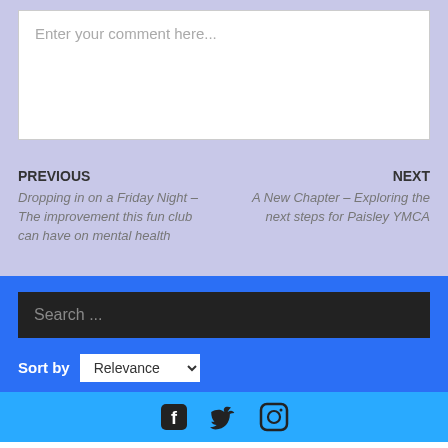Enter your comment here...
PREVIOUS
Dropping in on a Friday Night – The improvement this fun club can have on mental health
NEXT
A New Chapter – Exploring the next steps for Paisley YMCA
Search ...
Sort by Relevance
[Figure (other): Social media icons: Facebook, Twitter, Instagram]